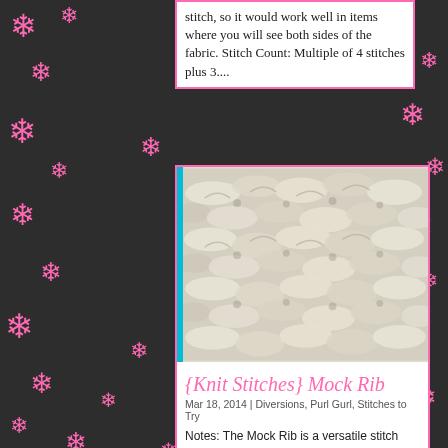stitch, so it would work well in items where you will see both sides of the fabric. Stitch Count: Multiple of 4 stitches plus 3....
[Figure (photo): Close-up photo of cream/white knit fabric showing a mock rib stitch pattern texture]
{Knit Stitches} Mock Rib
Mar 18, 2014 | Diversions, Purl Gurl, Stitches to Try
Notes: The Mock Rib is a versatile stitch that mimics ribbing but does not have the elasticity. It is a simple two-row repeat that knits up very quickly. Stitch Count: Multiple of 2 stitches plus 1. Written Instructions: Row 1 (RS): *K1, sl 1 wyif; rep from * to last...